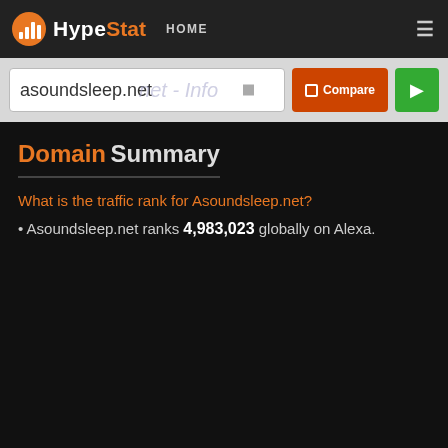HypeStat — HOME
asoundsleep.net
asoundsleep.net - Info
Domain Summary
What is the traffic rank for Asoundsleep.net?
Asoundsleep.net ranks 4,983,023 globally on Alexa.